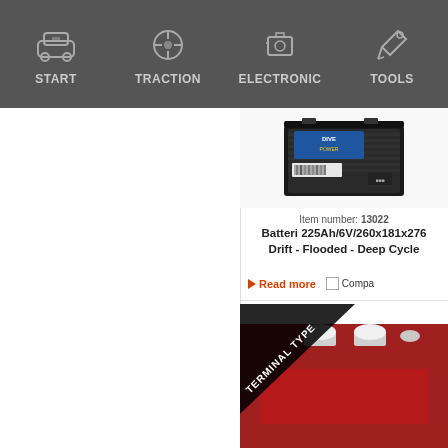START | TRACTION | ELECTRONIC | TOOLS
[Figure (photo): A black 6V deep cycle traction battery with blue DIVE POWER label and barcode sticker, viewed at an angle from above.]
Item number: 13022
Batteri 225Ah/6V/260x181x276 Drift - Flooded - Deep Cycle
Read more
[Figure (photo): A red deep cycle battery with white terminal caps and a TERMINAL TYPE banner/ribbon overlaid in the top-left corner.]